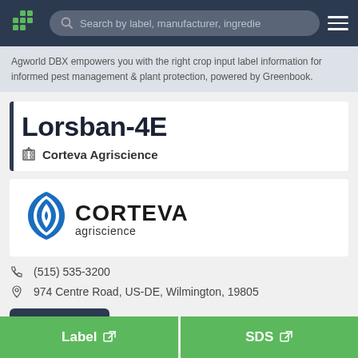[Figure (screenshot): Agworld DBX web application navigation bar with green cross logo, search bar, and hamburger menu on dark navy background]
Agworld DBX empowers you with the right crop input label information for informed pest management & plant protection, powered by Greenbook.
Lorsban-4E
Corteva Agriscience
[Figure (logo): Corteva Agriscience logo with blue stylized leaf/arrow icon and black CORTEVA agriscience text]
(515) 535-3200
974 Centre Road, US-DE, Wilmington, 19805
Website
Label
SDS